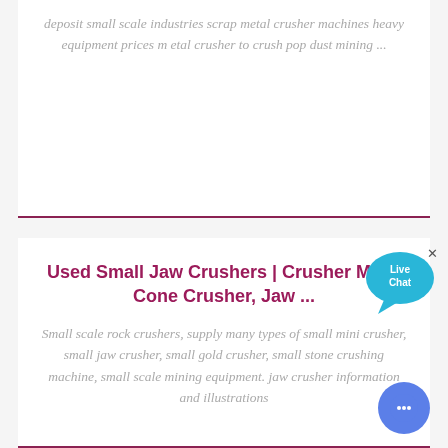deposit small scale industries scrap metal crusher machines heavy equipment prices m etal crusher to crush pop dust mining ...
Used Small Jaw Crushers | Crusher Mills, Cone Crusher, Jaw ...
Small scale rock crushers, supply many types of small mini crusher, small jaw crusher, small gold crusher, small stone crushing machine, small scale mining equipment. jaw crusher information and illustrations
[Figure (illustration): Live Chat speech bubble widget with 'Live Chat' text in white on blue/teal background]
[Figure (illustration): Round blue messenger/chat button with three dots icon at bottom right of page]